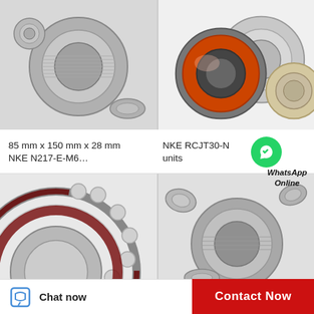[Figure (photo): Needle roller bearings (NKE N217-E-M6 style) — cylindrical steel bearing and smaller loose bearing components on grey background]
[Figure (photo): Deep groove ball bearings — three bearings in different colors (orange/red seal, silver/metal shield, beige/tan) on white background]
85 mm x 150 mm x 28 mm NKE N217-E-M6…
NKE RCJT30-N… ng units
[Figure (photo): Angular contact ball bearing with dark maroon/brown retainer and silver balls, partially visible]
[Figure (photo): Needle roller bearings — similar to top left, cylindrical steel bearing with smaller components]
Chat now
Contact Now